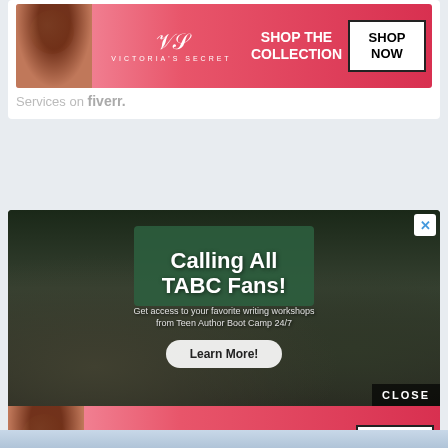[Figure (screenshot): Victoria's Secret advertisement banner with pink background showing a woman model on the left, VS logo in the center, 'SHOP THE COLLECTION' text, and a 'SHOP NOW' button on the right]
Services on fiverr.
[Figure (screenshot): Teen Author Boot Camp (TABC) advertisement with dark background showing a crowd of people at a writing workshop event. Text overlay reads 'Calling All TABC Fans! Get access to your favorite writing workshops from Teen Author Boot Camp 24/7' with a 'Learn More!' button. Has an X close button in top right corner and CLOSE button in bottom right.]
[Figure (screenshot): Victoria's Secret advertisement banner (partial, at bottom of page) with pink background showing a woman model on the left, VS logo in the center, 'SHOP THE COLLECTION' text, and a 'SHOP NOW' button on the right]